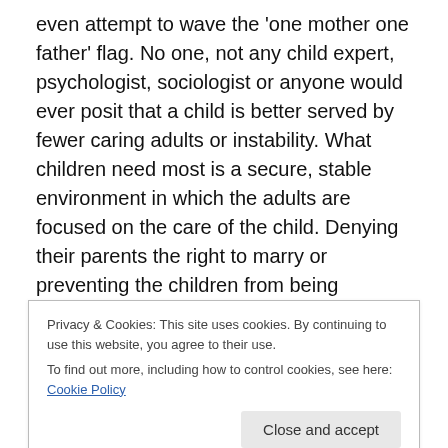even attempt to wave the 'one mother one father' flag. No one, not any child expert, psychologist, sociologist or anyone would ever posit that a child is better served by fewer caring adults or instability. What children need most is a secure, stable environment in which the adults are focused on the care of the child. Denying their parents the right to marry or preventing the children from being adopted is simply not in the best interest of 'the children'. That this or any argument is being made by a country known (to us) as being far more lax seems uncharacteristic.
Privacy & Cookies: This site uses cookies. By continuing to use this website, you agree to their use.
To find out more, including how to control cookies, see here: Cookie Policy
Close and accept
…